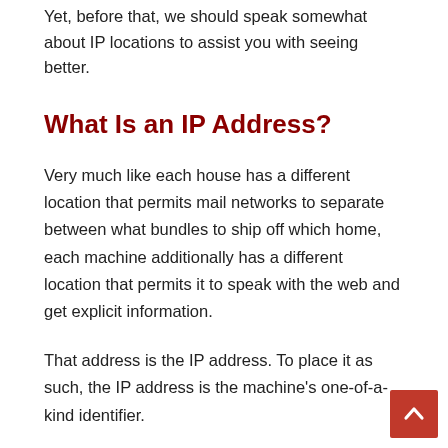Yet, before that, we should speak somewhat about IP locations to assist you with seeing better.
What Is an IP Address?
Very much like each house has a different location that permits mail networks to separate between what bundles to ship off which home, each machine additionally has a different location that permits it to speak with the web and get explicit information.
That address is the IP address. To place it as such, the IP address is the machine’s one-of-a-kind identifier.
An IP address is a thing that permits a gadget to associate with different gadgets and convey over an IP-